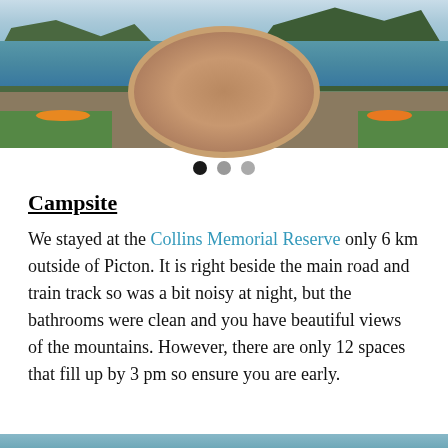[Figure (photo): Scenic harbour photo showing turquoise water with boats, green forested mountains in background, and a circular brick plaza with flowers in the foreground]
Campsite
We stayed at the Collins Memorial Reserve only 6 km outside of Picton. It is right beside the main road and train track so was a bit noisy at night, but the bathrooms were clean and you have beautiful views of the mountains. However, there are only 12 spaces that fill up by 3 pm so ensure you are early.
[Figure (photo): Partial bottom photo, cropped]